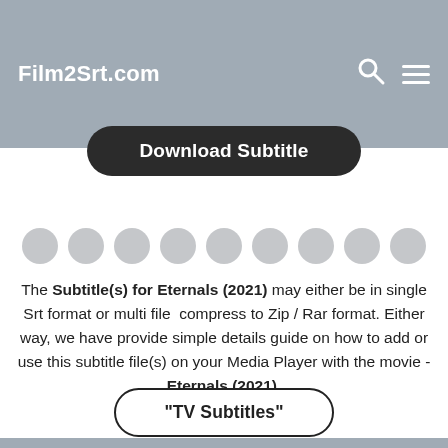Film2Srt.com
Download Subtitle
[Figure (other): Row of 9 grey circle dots used as a loading/pagination indicator]
The Subtitle(s) for Eternals (2021) may either be in single Srt format or multi file  compress to Zip / Rar format. Either way, we have provide simple details guide on how to add or use this subtitle file(s) on your Media Player with the movie - Eternals (2021).
"TV Subtitles"